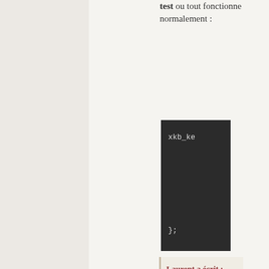test ou tout fonctionne normalement :
[Figure (screenshot): Dark-themed code block showing xkb_ke text and closing }; on a dark background]
Laurent a écrit : Qu'as-tu comme trace